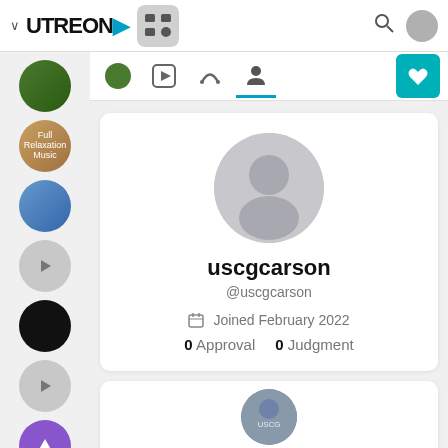[Figure (screenshot): Utreon website screenshot showing user profile page for uscgcarson with navigation bar, sidebar with channel icons, tab row, profile card, and partial second card]
uscgcarson
@uscgcarson
Joined February 2022
0 Approval   0 Judgment